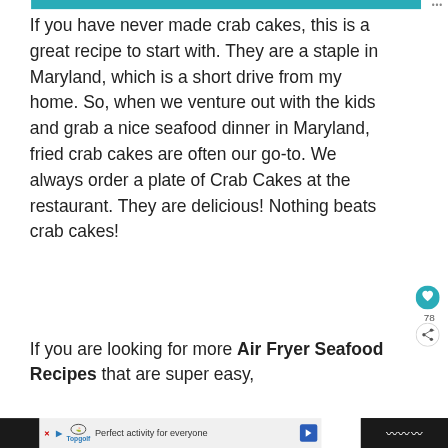If you have never made crab cakes, this is a great recipe to start with. They are a staple in Maryland, which is a short drive from my home. So, when we venture out with the kids and grab a nice seafood dinner in Maryland, fried crab cakes are often our go-to. We always order a plate of Crab Cakes at the restaurant. They are delicious! Nothing beats crab cakes!
If you are looking for more Air Fryer Seafood Recipes that are super easy,
Perfect activity for everyone  Topgolf